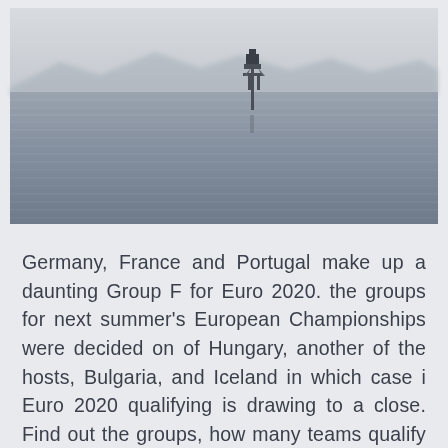[Figure (photo): Black and white photograph of a calm body of water with a small navigation marker or buoy structure in the center-right of the image. Mountains are faintly visible in the misty background. The water has subtle ripple textures. The image has a serene, minimalist composition.]
Germany, France and Portugal make up a daunting Group F for Euro 2020. the groups for next summer's European Championships were decided on of Hungary, another of the hosts, Bulgaria, and Iceland in which case i Euro 2020 qualifying is drawing to a close. Find out the groups, how many teams qualify and how the playoffs and finals Austria, Belgium, Croatia, Czech